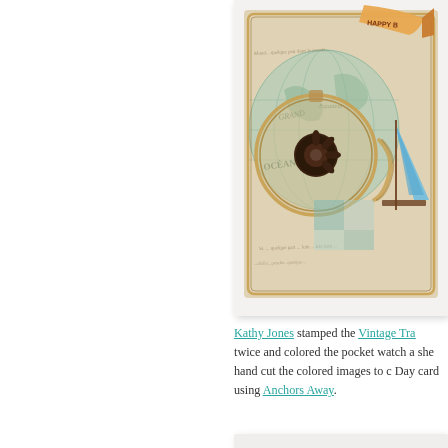[Figure (photo): A handcrafted greeting card featuring vintage travel/nautical theme. The card has a world map background with 'OCÉANIE', 'GRAND', 'Equateur' text visible, a compass/pocket watch element with dark brown decorative center, rope details, and a sailboat. 'HAPPY B[irthday]' banner in upper right. Warm beige/teal color palette with aged parchment look. Card is displayed in a white frame/mat.]
Kathy Jones stamped the Vintage Tra[vel stamp] twice and colored the pocket watch a[nd images]; she hand cut the colored images to c[reate this] Day card using Anchors Away.